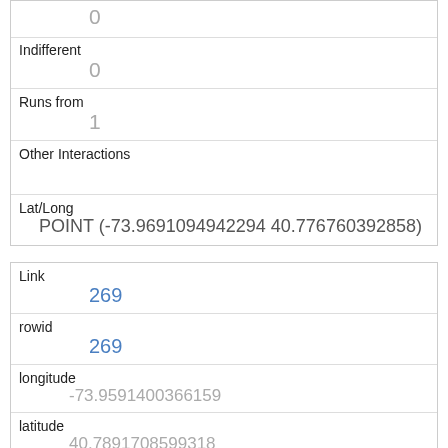|  | 0 |
| Indifferent | 0 |
| Runs from | 1 |
| Other Interactions |  |
| Lat/Long | POINT (-73.9691094942294 40.776760392858) |
| Link | 269 |
| rowid | 269 |
| longitude | -73.9591400366159 |
| latitude | 40.7891708599318 |
| Unique Squirrel ID | 31F-PM-1007-01 |